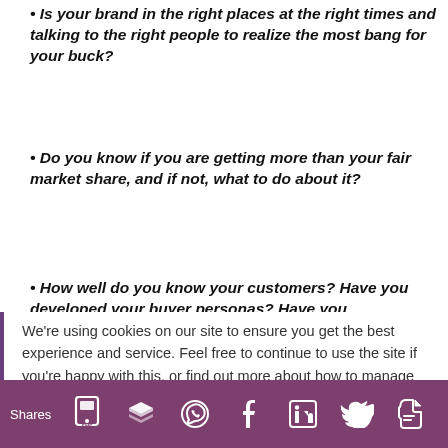Is your brand in the right places at the right times and talking to the right people to realize the most bang for your buck?
Do you know if you are getting more than your fair market share, and if not, what to do about it?
How well do you know your customers? Have you developed your buyer personas? Have you
We're using cookies on our site to ensure you get the best experience and service. Feel free to continue to use the site if you're happy with this, or find out more about how to manage
Shares [social share icons: SMS, Buffer, WhatsApp, Facebook, LinkedIn, Twitter, Evernote]